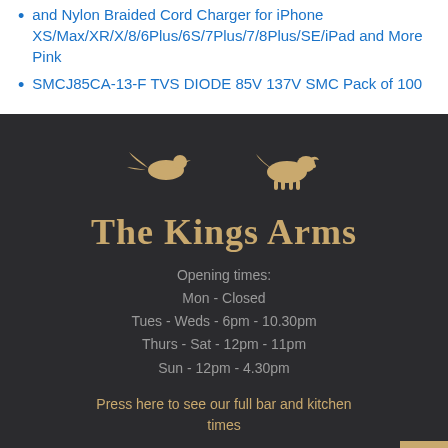and Nylon Braided Cord Charger for iPhone XS/Max/XR/X/8/6Plus/6S/7Plus/7/8Plus/SE/iPad and More Pink
SMCJ85CA-13-F TVS DIODE 85V 137V SMC Pack of 100
[Figure (logo): The Kings Arms pub logo with pheasant and dog silhouettes above stylized serif text]
Opening times:
Mon - Closed
Tues - Weds - 6pm - 10.30pm
Thurs - Sat - 12pm - 11pm
Sun - 12pm - 4.30pm
Press here to see our full bar and kitchen times
01572 737 634
info@thekingsarms-wing.co.uk